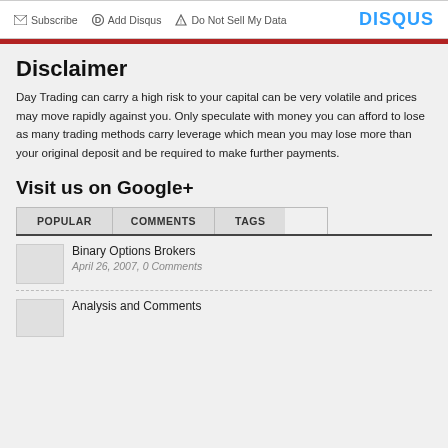Subscribe  Add Disqus  Do Not Sell My Data  DISQUS
Disclaimer
Day Trading can carry a high risk to your capital can be very volatile and prices may move rapidly against you. Only speculate with money you can afford to lose as many trading methods carry leverage which mean you may lose more than your original deposit and be required to make further payments.
Visit us on Google+
POPULAR  COMMENTS  TAGS
Binary Options Brokers
April 26, 2007, 0 Comments
Analysis and Comments